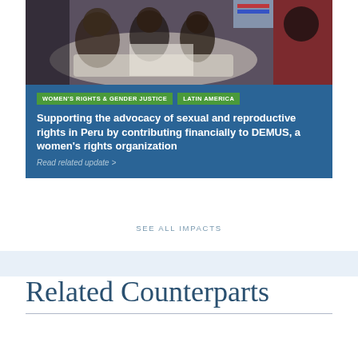[Figure (photo): Photo of women gathered around a table, appearing to be reviewing documents or signing papers, with colorful clothing visible.]
WOMEN'S RIGHTS & GENDER JUSTICE
LATIN AMERICA
Supporting the advocacy of sexual and reproductive rights in Peru by contributing financially to DEMUS, a women’s rights organization
Read related update >
SEE ALL IMPACTS
Related Counterparts